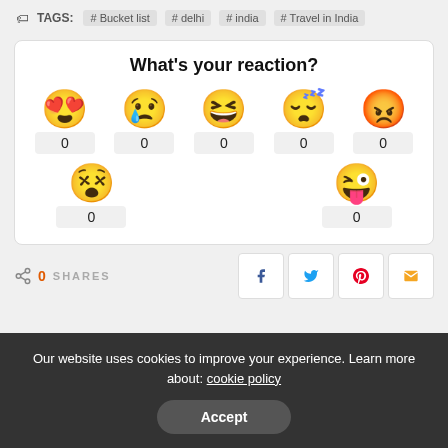TAGS: #Bucket list  #delhi  #india  #Travel in India
What's your reaction?
[Figure (infographic): Emoji reaction widget with 7 emoji faces (love, sad, haha, sleepy, angry, dizzy, playful), each showing a count of 0]
0 SHARES
Our website uses cookies to improve your experience. Learn more about: cookie policy
Accept